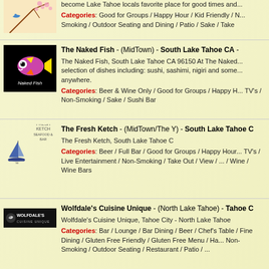[Figure (photo): Partial restaurant listing image - cherry blossom / Japanese art style on yellow background]
become Lake Tahoe locals favorite place for good times and...
Categories: Good for Groups / Happy Hour / Kid Friendly / ... Smoking / Outdoor Seating and Dining / Patio / Sake / Take ...
[Figure (logo): The Naked Fish restaurant logo - colorful cartoon fish on black background]
The Naked Fish - (MidTown) - South Lake Tahoe CA - The Naked Fish, South Lake Tahoe CA 96150 At The Naked... selection of dishes including: sushi, sashimi, nigiri and some... anywhere.
Categories: Beer & Wine Only / Good for Groups / Happy H... TV's / Non-Smoking / Sake / Sushi Bar
[Figure (logo): The Fresh Ketch restaurant logo - sailboat illustration]
The Fresh Ketch - (MidTown/The Y) - South Lake Tahoe C The Fresh Ketch, South Lake Tahoe C
Categories: Beer / Full Bar / Good for Groups / Happy Hour... TV's / Live Entertainment / Non-Smoking / Take Out / View /... / Wine / Wine Bars
[Figure (logo): Wolfdale's Cuisine Unique logo - dark background with bird icon]
Wolfdale's Cuisine Unique - (North Lake Tahoe) - Tahoe C Wolfdale's Cuisine Unique, Tahoe City - North Lake Tahoe
Categories: Bar / Lounge / Bar Dining / Beer / Chef's Table / Fine Dining / Gluten Free Friendly / Gluten Free Menu / Ha... Non-Smoking / Outdoor Seating / Restaurant / Patio /...